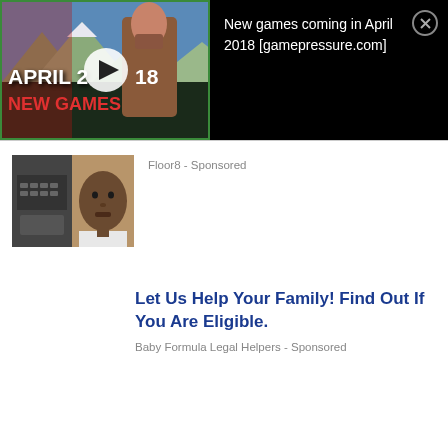[Figure (screenshot): Video thumbnail for 'New games coming in April 2018' showing a warrior character with mountains background, APRIL 2018 NEW GAMES text overlay and play button]
New games coming in April 2018 [gamepressure.com]
[Figure (photo): Small thumbnail image showing a person in front of a computer]
Floor8 - Sponsored
Let Us Help Your Family! Find Out If You Are Eligible.
Baby Formula Legal Helpers - Sponsored